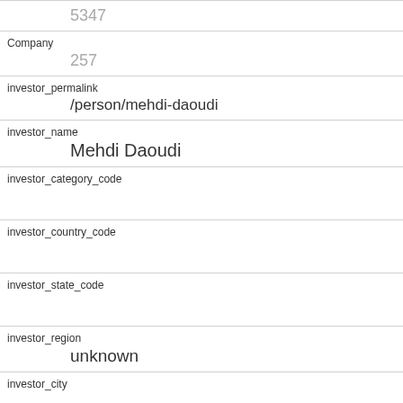| field | value |
| --- | --- |
|  | 5347 |
| Company | 257 |
| investor_permalink | /person/mehdi-daoudi |
| investor_name | Mehdi Daoudi |
| investor_category_code |  |
| investor_country_code |  |
| investor_state_code |  |
| investor_region | unknown |
| investor_city |  |
| funding_round_type | venture |
| funded_at | 1309478400 |